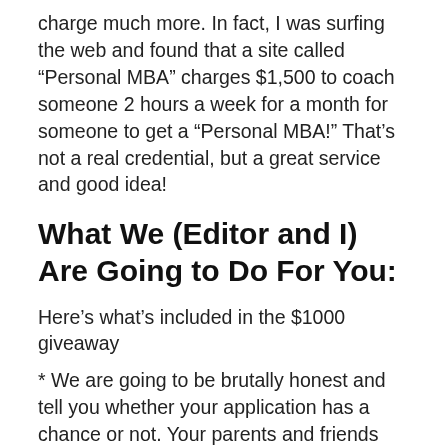charge much more. In fact, I was surfing the web and found that a site called “Personal MBA” charges $1,500 to coach someone 2 hours a week for a month for someone to get a “Personal MBA!” That’s not a real credential, but a great service and good idea!
What We (Editor and I) Are Going to Do For You:
Here’s what’s included in the $1000 giveaway
* We are going to be brutally honest and tell you whether your application has a chance or not. Your parents and friends are nice, but can’t be trusted to tell you the whole truth!